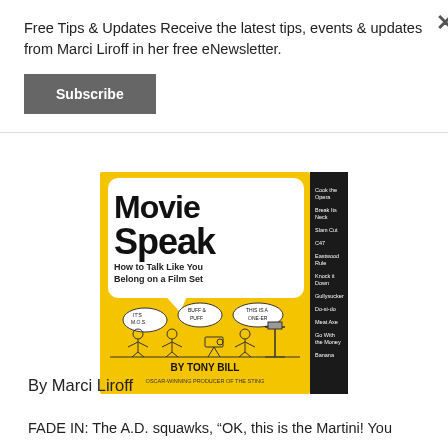Free Tips & Updates Receive the latest tips, events & updates from Marci Liroff in her free eNewsletter.
Subscribe
[Figure (photo): Book cover of 'Movie Speak: How to Talk Like You Belong on a Film Set' by Tony Bill, Oscar-Winning Producer of The Sting. Yellow and black cover with cartoon illustrations of film crew members with speech bubbles, and a list of film terms on the right side.]
By Marci Liroff
FADE IN: The A.D. squawks, “OK, this is the Martini! You